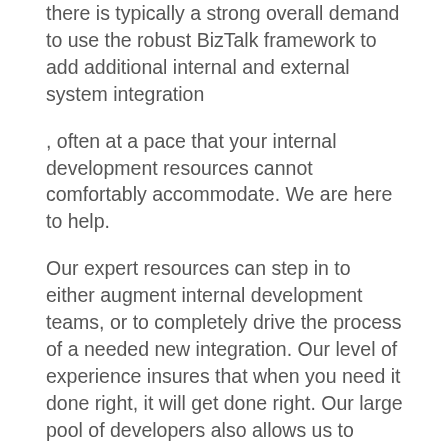there is typically a strong overall demand to use the robust BizTalk framework to add additional internal and external system integration
, often at a pace that your internal development resources cannot comfortably accommodate. We are here to help.
Our expert resources can step in to either augment internal development teams, or to completely drive the process of a needed new integration. Our level of experience insures that when you need it done right, it will get done right. Our large pool of developers also allows us to devote multiple resources to a given development effort, in order to shrink the total timeline needed to complete a project.